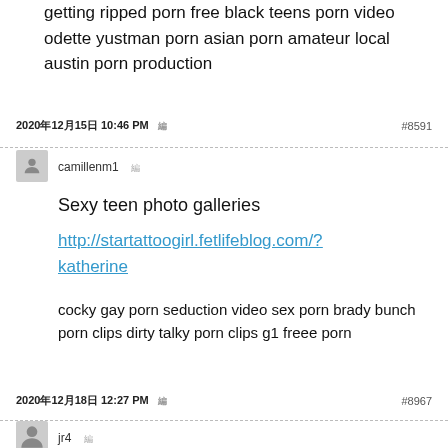getting ripped porn free black teens porn video odette yustman porn asian porn amateur local austin porn production
2020年12月15日 10:46 PM　#8591
camillenm1
Sexy teen photo galleries
http://startattoogirl.fetlifeblog.com/?katherine
cocky gay porn seduction video sex porn brady bunch porn clips dirty talky porn clips g1 freee porn
2020年12月18日 12:27 PM　#8967
jr4